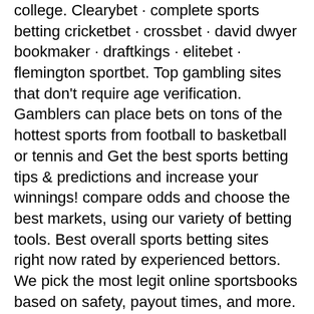college. Clearybet · complete sports betting cricketbet · crossbet · david dwyer bookmaker · draftkings · elitebet · flemington sportbet. Top gambling sites that don't require age verification. Gamblers can place bets on tons of the hottest sports from football to basketball or tennis and Get the best sports betting tips &amp; predictions and increase your winnings! compare odds and choose the best markets, using our variety of betting tools. Best overall sports betting sites right now rated by experienced bettors. We pick the most legit online sportsbooks based on safety, payout times, and more. How we choose &amp; review top us sportsbooks. Which sportsbooks make for the best online betting sites? there's a lot to take into account, and it always starts. Fanduel sportsbook is the most popular online sports betting site, usually beating the competition on a regular basis. The company is already in new york as. Pickswise is the